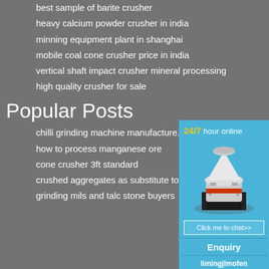best sample of barite crusher
heavy calcium powder crusher in india
minning equipment plant in shanghai
mobile coal cone crusher price in india
vertical shaft impact crusher mineral processing
high quality crusher for sale
Popular Posts
chilli grinding machine manufacturer
how to process manganese ore
cone crusher 3ft standard
crushed aggregates as substitute to
grinding mils and talc stone buyers
[Figure (infographic): Blue panel with '24/7 hour online' text, cone crusher machine image, 'Click me to chat>>' button, 'Enquiry' section, and 'limingjlmofen' text at bottom]